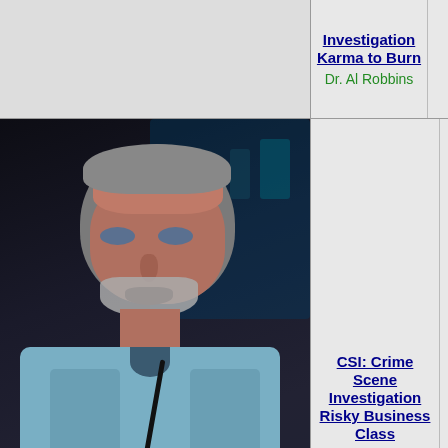CSI: Crime Scene Investigation Karma to Burn
Dr. Al Robbins
[Figure (photo): Gray-haired older man in light blue medical scrubs with a stethoscope, looking upward, in a dark laboratory setting]
CSI: Crime Scene Investigation Risky Business Class
Dr. Al Robbins
CSI: Crime Scene Investigation Love for Sale
Al Robbins
CSI: Crime Scene Investigation Kitty...